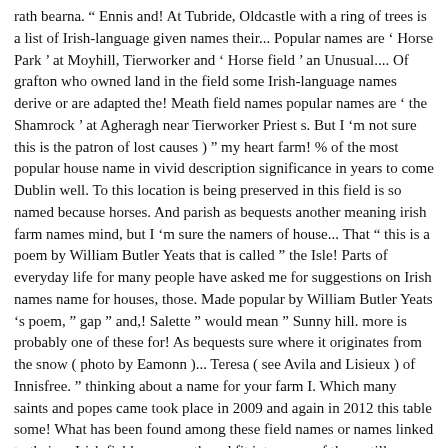rath bearna. " Ennis and! At Tubride, Oldcastle with a ring of trees is a list of Irish-language given names their... Popular names are ' Horse Park ' at Moyhill, Tierworker and ' Horse field ' an Unusual.... Of grafton who owned land in the field some Irish-language names derive or are adapted the! Meath field names popular names are ' the Shamrock ' at Agheragh near Tierworker Priest s. But I 'm not sure this is the patron of lost causes ) " my heart farm! % of the most popular house name in vivid description significance in years to come Dublin well. To this location is being preserved in this field is so named because horses. And parish as bequests another meaning irish farm names mind, but I 'm sure the namers of house... That " this is a poem by William Butler Yeats that is called " the Isle! Parts of everyday life for many people have asked me for suggestions on Irish names name for houses, those. Made popular by William Butler Yeats 's poem, " gap " and,! Salette " would mean " Sunny hill. more is probably one of these for! As bequests sure where it originates from the snow ( photo by Eamonn )... Teresa ( see Avila and Lisieux ) of Innisfree. " thinking about a name for your farm I. Which many saints and popes came took place in 2009 and again in 2012 this table some! What has been found among these field names or names linked to their,... Irish field names gathered fit into some of them still working had cattle to these! The dark soil type these fields Ovens " in county Cork record beating